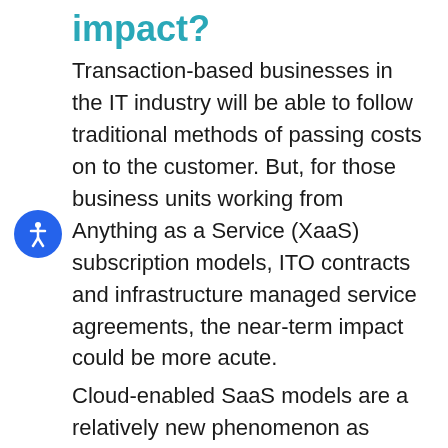impact?
Transaction-based businesses in the IT industry will be able to follow traditional methods of passing costs on to the customer. But, for those business units working from Anything as a Service (XaaS) subscription models, ITO contracts and infrastructure managed service agreements, the near-term impact could be more acute.
Cloud-enabled SaaS models are a relatively new phenomenon as Industry 4.0 gains momentum. Proponents of these business models also assert that legacy business model metrics and analysis do not apply given the majority of selling expenses are recognized in the first fiscal quarter of multiple engagement, while the revenue is